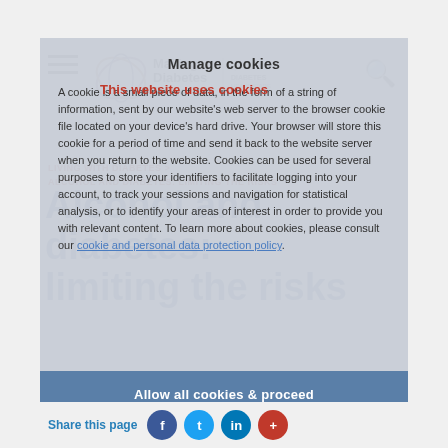This website uses cookies
Manage cookies
A cookie is a small piece of data, in the form of a string of information, sent by our website's web server to the browser cookie file located on your device's hard drive. Your browser will store this cookie for a period of time and send it back to the website server when you return to the website. Cookies can be used for several purposes to store your identifiers to facilitate logging into your account, to track your sessions and navigation for statistical analysis, or to identify your areas of interest in order to provide you with relevant content. To learn more about cookies, please consult our cookie and personal data protection policy.
Alcohol and diabetes: limiting the risks
LIVING WITH DIABETES >
ALCOHOL AND DIABETES: LIMITING THE RISKS
Allow all cookies & proceed
Share this page